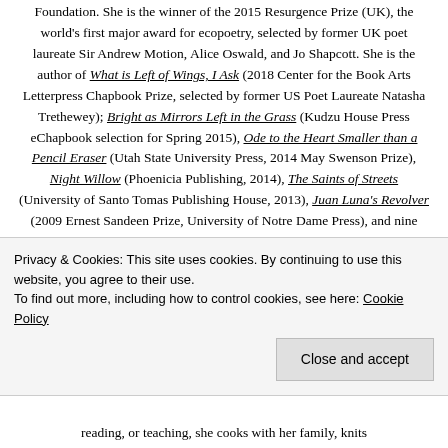Foundation. She is the winner of the 2015 Resurgence Prize (UK), the world's first major award for ecopoetry, selected by former UK poet laureate Sir Andrew Motion, Alice Oswald, and Jo Shapcott. She is the author of What is Left of Wings, I Ask (2018 Center for the Book Arts Letterpress Chapbook Prize, selected by former US Poet Laureate Natasha Trethewey); Bright as Mirrors Left in the Grass (Kudzu House Press eChapbook selection for Spring 2015), Ode to the Heart Smaller than a Pencil Eraser (Utah State University Press, 2014 May Swenson Prize), Night Willow (Phoenicia Publishing, 2014), The Saints of Streets (University of Santo Tomas Publishing House, 2013), Juan Luna's Revolver (2009 Ernest Sandeen Prize, University of Notre Dame Press), and nine other books. She is a member of the core
Privacy & Cookies: This site uses cookies. By continuing to use this website, you agree to their use.
To find out more, including how to control cookies, see here: Cookie Policy
reading, or teaching, she cooks with her family, knits